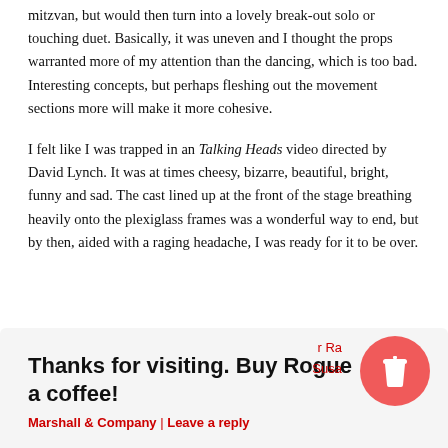mitzvan, but would then turn into a lovely break-out solo or touching duet. Basically, it was uneven and I thought the props warranted more of my attention than the dancing, which is too bad. Interesting concepts, but perhaps fleshing out the movement sections more will make it more cohesive.
I felt like I was trapped in an Talking Heads video directed by David Lynch. It was at times cheesy, bizarre, beautiful, bright, funny and sad. The cast lined up at the front of the stage breathing heavily onto the plexiglass frames was a wonderful way to end, but by then, aided with a raging headache, I was ready for it to be over.
Thanks for visiting. Buy Rogue a coffee!
r Ra... Susa...
Marshall & Company | Leave a reply